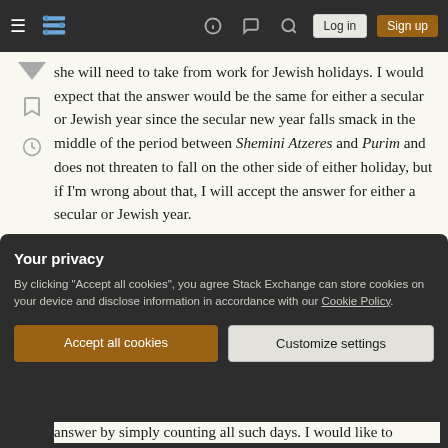Stack Exchange navigation bar with Log in and Sign up buttons
she will need to take from work for Jewish holidays. I would expect that the answer would be the same for either a secular or Jewish year since the secular new year falls smack in the middle of the period between Shemini Atzeres and Purim and does not threaten to fall on the other side of either holiday, but if I'm wrong about that, I will accept the answer for either a secular or Jewish year.
For the purpose of this question, let's assume we're talking about yom tov and chol hamoed as well as including Purim and Tisha B'Av. Let's also assume we're
Your privacy
By clicking "Accept all cookies", you agree Stack Exchange can store cookies on your device and disclose information in accordance with our Cookie Policy.
answer by simply counting all such days. I would like to